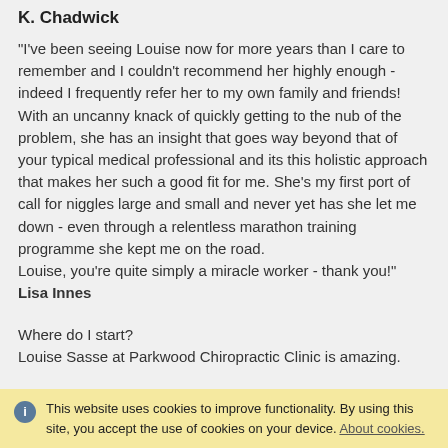K. Chadwick
"I've been seeing Louise now for more years than I care to remember and I couldn't recommend her highly enough - indeed I frequently refer her to my own family and friends! With an uncanny knack of quickly getting to the nub of the problem, she has an insight that goes way beyond that of your typical medical professional and its this holistic approach that makes her such a good fit for me. She's my first port of call for niggles large and small and never yet has she let me down - even through a relentless marathon training programme she kept me on the road.
Louise, you're quite simply a miracle worker - thank you!"
Lisa Innes
Where do I start?
Louise Sasse at Parkwood Chiropractic Clinic is amazing.
This website uses cookies to improve functionality. By using this site, you accept the use of cookies on your device. About cookies.